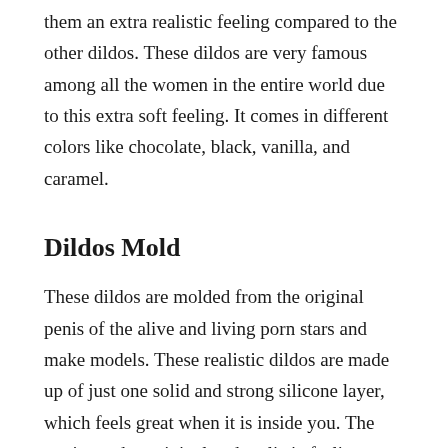them an extra realistic feeling compared to the other dildos. These dildos are very famous among all the women in the entire world due to this extra soft feeling. It comes in different colors like chocolate, black, vanilla, and caramel.
Dildos Mold
These dildos are molded from the original penis of the alive and living porn stars and make models. These realistic dildos are made up of just one solid and strong silicone layer, which feels great when it is inside you. The cutting- edge original and realistic feeling made it famous all around the world.